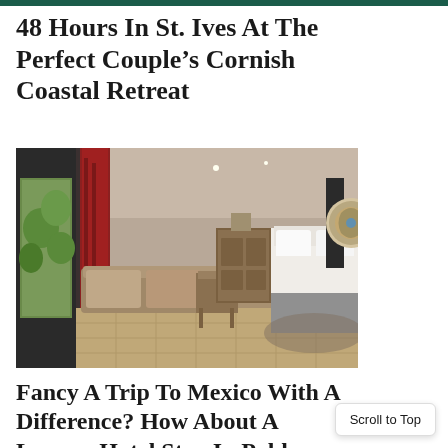48 Hours In St. Ives At The Perfect Couple’s Cornish Coastal Retreat
[Figure (photo): Interior of a luxury hotel room with warm beige/grey tones, a large bed with white linens and grey throw, a wooden chair, low seating along a large window with red curtains, and decorative artwork on the wall.]
Fancy A Trip To Mexico With A Difference? How About A Luxury Hotel Stay In Pablo